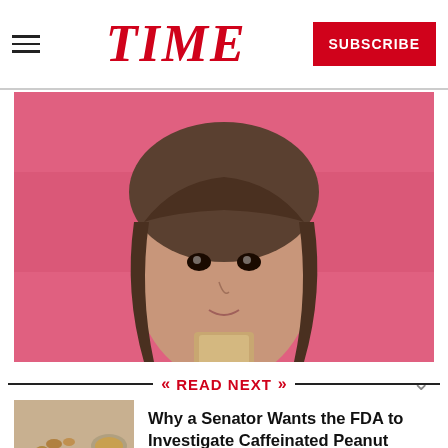TIME  SUBSCRIBE
[Figure (photo): Woman with bangs holding a piece of peanut butter cracker near her mouth, pink background]
READ NEXT
[Figure (photo): Spoon with peanut butter and peanuts on tan/beige background]
Why a Senator Wants the FDA to Investigate Caffeinated Peanut Butter